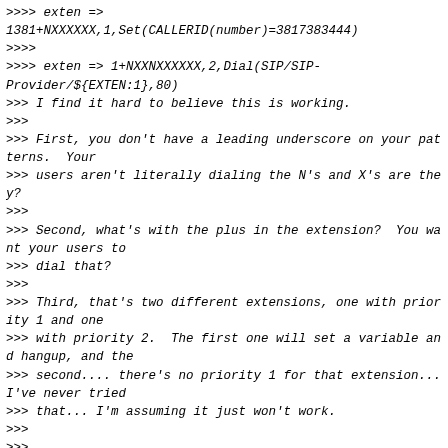>>>> exten =>
1381+NXXXXXX,1,Set(CALLERID(number)=3817383444)
>>>>
>>>> exten => 1+NXXNXXXXXX,2,Dial(SIP/SIP-Provider/${EXTEN:1},80)
>>> I find it hard to believe this is working.
>>>
>>> First, you don't have a leading underscore on your patterns.  Your
>>> users aren't literally dialing the N's and X's are they?
>>>
>>> Second, what's with the plus in the extension?  You want your users to
>>> dial that?
>>>
>>> Third, that's two different extensions, one with priority 1 and one
>>> with priority 2.  The first one will set a variable and hangup, and the
>>> second.... there's no priority 1 for that extension... I've never tried
>>> that... I'm assuming it just won't work.
>>>
>>>
>>
>> --------------- next part ---------------
>> An HTML attachment was scrubbed...
>> URL: <http://lists.digium.com/pipermail/asterisk-users/attachments/20150428/6fa782f1/attachment-